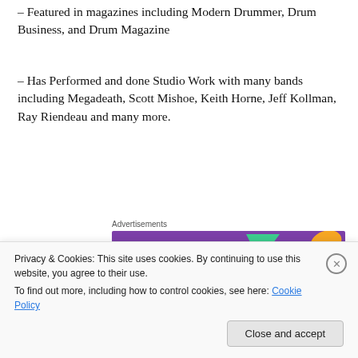– Featured in magazines including Modern Drummer, Drum Business, and Drum Magazine
– Has Performed and done Studio Work with many bands including Megadeath, Scott Mishoe, Keith Horne, Jeff Kollman, Ray Riendeau and many more.
[Figure (screenshot): WooCommerce advertisement banner: purple background with WooCommerce logo on left, text 'How to start selling subscriptions online' on right, with colorful arrow/triangle accents. Labeled 'Advertisements' above.]
– Former students have graduated from Berklee College of Music & Massachusetts Institute of Technology (MIT)
Privacy & Cookies: This site uses cookies. By continuing to use this website, you agree to their use. To find out more, including how to control cookies, see here: Cookie Policy